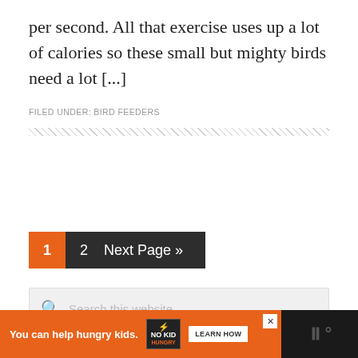per second. All that exercise uses up a lot of calories so these small but mighty birds need a lot [...]
FILED UNDER: BIRD FEEDERS
1  2  Next Page »
Search this website
You can help hungry kids.  NO KID HUNGRY  LEARN HOW